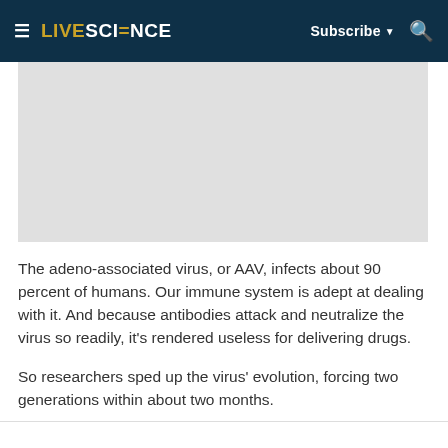LIVESCIENCE  Subscribe  [search]
[Figure (photo): Gray placeholder image box, likely an article image]
The adeno-associated virus, or AAV, infects about 90 percent of humans. Our immune system is adept at dealing with it. And because antibodies attack and neutralize the virus so readily, it's rendered useless for delivering drugs.
So researchers sped up the virus' evolution, forcing two generations within about two months.